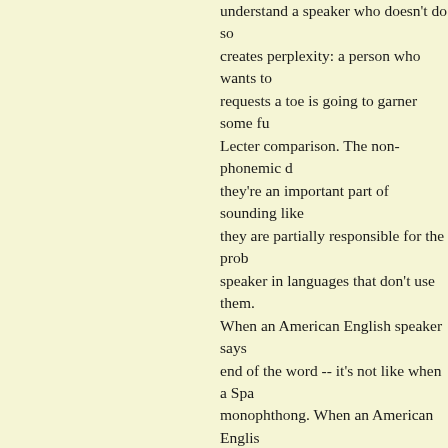understand a speaker who doesn't do so creates perplexity: a person who wants to requests a toe is going to garner some f Lecter comparison. The non-phonemic d they're an important part of sounding like they are partially responsible for the prob speaker in languages that don't use them. When an American English speaker says end of the word -- it's not like when a Sp monophthong. When an American Englis added on. If you say it aloud I bet you ca your lips move as the vowel shifts. Again, English dialects that omit these diphtho
Are you with me or you have gone off in looks yummy, doesn't it? Except it's like coquito for me this week.) Let's count: fiv if you merge sought/sot), two central vo non-phonemic diphthongs, for a total of 1 distinguishes between stressed and unst symbols for them. So there's a case to b stressed and unstressed "uh," stressed a fabulous case, but I am pushing back ag zillion vowels. (<-Guess who does not st